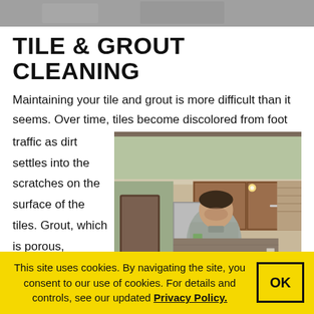[Figure (photo): Top strip showing a partial photo, cropped at top of page]
TILE & GROUT CLEANING
Maintaining your tile and grout is more difficult than it seems. Over time, tiles become discolored from foot traffic as dirt settles into the scratches on the surface of the tiles. Grout, which is porous,
[Figure (photo): A man in a grey shirt working in a kitchen with brown wooden cabinets and stainless steel appliances]
This site uses cookies. By navigating the site, you consent to our use of cookies. For details and controls, see our updated Privacy Policy.